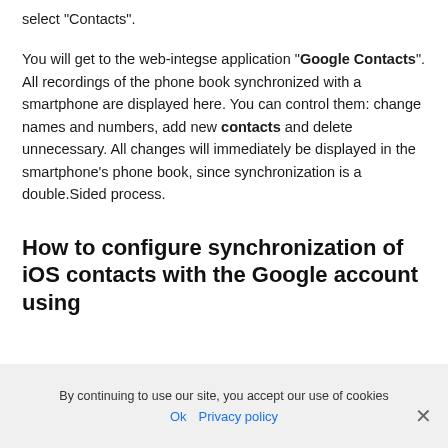select "Contacts".
You will get to the web-integse application "Google Contacts". All recordings of the phone book synchronized with a smartphone are displayed here. You can control them: change names and numbers, add new contacts and delete unnecessary. All changes will immediately be displayed in the smartphone's phone book, since synchronization is a double.Sided process.
How to configure synchronization of iOS contacts with the Google account using
By continuing to use our site, you accept our use of cookies
Ok   Privacy policy